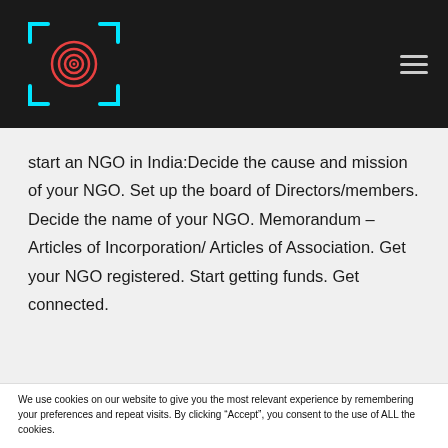[Navigation bar with logo and menu icon]
start an NGO in India:Decide the cause and mission of your NGO. Set up the board of Directors/members. Decide the name of your NGO. Memorandum – Articles of Incorporation/ Articles of Association. Get your NGO registered. Start getting funds. Get connected.
We use cookies on our website to give you the most relevant experience by remembering your preferences and repeat visits. By clicking “Accept”, you consent to the use of ALL the cookies.
Do not sell my personal information.
Cookie Settings  Accept